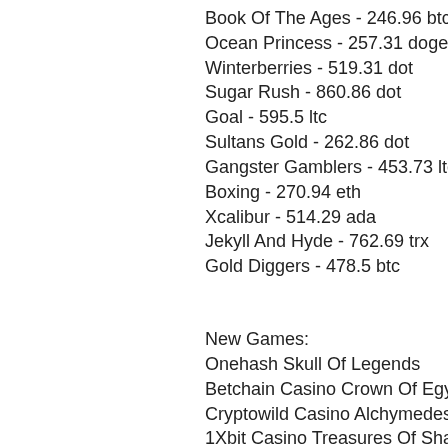Book Of The Ages - 246.96 btc
Ocean Princess - 257.31 doge
Winterberries - 519.31 dot
Sugar Rush - 860.86 dot
Goal - 595.5 ltc
Sultans Gold - 262.86 dot
Gangster Gamblers - 453.73 ltc
Boxing - 270.94 eth
Xcalibur - 514.29 ada
Jekyll And Hyde - 762.69 trx
Gold Diggers - 478.5 btc
New Games:
Onehash Skull Of Legends
Betchain Casino Crown Of Egypt
Cryptowild Casino Alchymedes
1Xbit Casino Treasures Of Shaman
Vegas Crest Casino Flux
Bitcoin Penguin Casino Book Of The Ages
Syndicate Casino Lolly Land